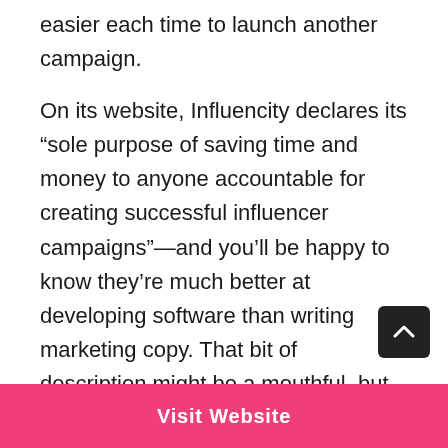easier each time to launch another campaign.
On its website, Influencity declares its “sole purpose of saving time and money to anyone accountable for creating successful influencer campaigns”—and you’ll be happy to know they’re much better at developing software than writing marketing copy. That bit of description might be a mouthful, but it’s also a true assertion of what the software can do for both brands and agencies. Influencity started before “influencer marketing” was a common practice (much less a known phrase). Given
Visit Website